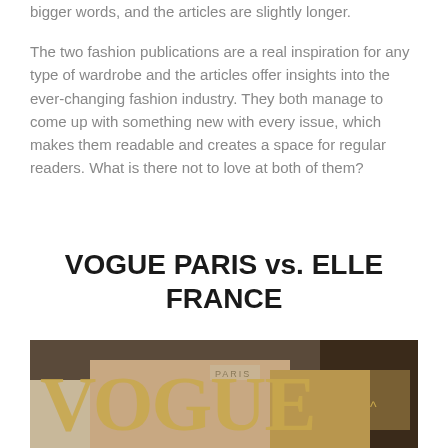bigger words, and the articles are slightly longer.
The two fashion publications are a real inspiration for any type of wardrobe and the articles offer insights into the ever-changing fashion industry. They both manage to come up with something new with every issue, which makes them readable and creates a space for regular readers. What is there not to love at both of them?
VOGUE PARIS vs. ELLE FRANCE
[Figure (photo): Vogue Paris magazine cover featuring a close-up portrait of a model with the large gold VOGUE logo overlaid]